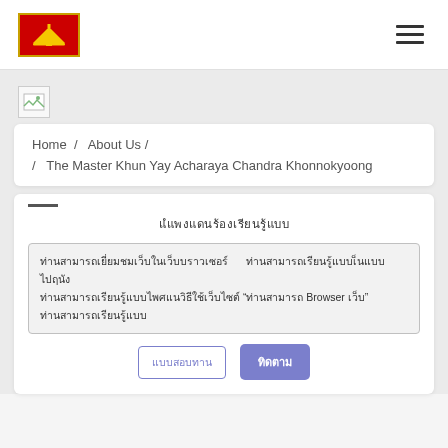[Figure (logo): Red flag logo with yellow border and yellow emblem (boat/mountain shape) in center, used as site logo in header]
[Figure (other): Hamburger menu icon (three horizontal lines) in top navigation bar]
[Figure (other): Broken image placeholder icon]
Home / About Us / / The Master Khun Yay Acharaya Chandra Khonnokyoong
[Thai script title - garbled/encoded text]
[Thai script body text with 'Browser' embedded - garbled/encoded text block]
[Button row with two buttons: outline button with Thai text and filled purple button with Thai text]